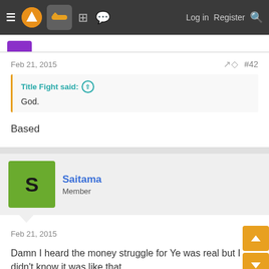Log in  Register
Feb 21, 2015  #42
Title Fight said: ↑
God.
Based
Saitama
Member
Feb 21, 2015
Damn I heard the money struggle for Ye was real but I didn't know it was like that.